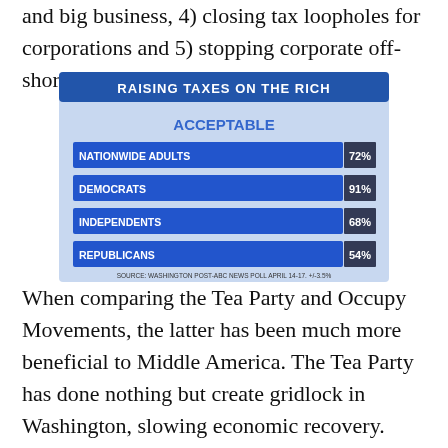and big business, 4) closing tax loopholes for corporations and 5) stopping corporate off-shore cash hoarding.
[Figure (bar-chart): RAISING TAXES ON THE RICH — ACCEPTABLE]
When comparing the Tea Party and Occupy Movements, the latter has been much more beneficial to Middle America. The Tea Party has done nothing but create gridlock in Washington, slowing economic recovery. They've also placed political handcuffs on Republican Speaker of the House, John Boehner. He's ineffective